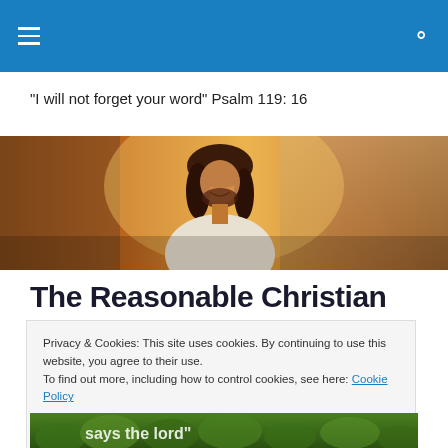Navigation menu and search icon on blue header bar
"I will not forget your word" Psalm 119: 16
[Figure (photo): Hero image of a smiling man with long dark hair and beard, outdoors in warm sunlit setting]
The Reasonable Christian
Privacy & Cookies: This site uses cookies. By continuing to use this website, you agree to their use.
To find out more, including how to control cookies, see here: Cookie Policy
Close and accept
[Figure (photo): Bottom strip showing green foliage with partial white text visible]